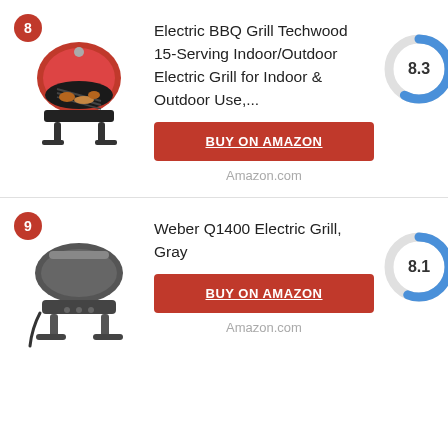[Figure (other): Red electric BBQ grill product image with rank badge '8' in red circle]
Electric BBQ Grill Techwood 15-Serving Indoor/Outdoor Electric Grill for Indoor & Outdoor Use,...
[Figure (donut-chart): Score]
BUY ON AMAZON
Amazon.com
[Figure (other): Gray Weber Q1400 electric grill product image with rank badge '9' in red circle]
Weber Q1400 Electric Grill, Gray
[Figure (donut-chart): Score]
BUY ON AMAZON
Amazon.com